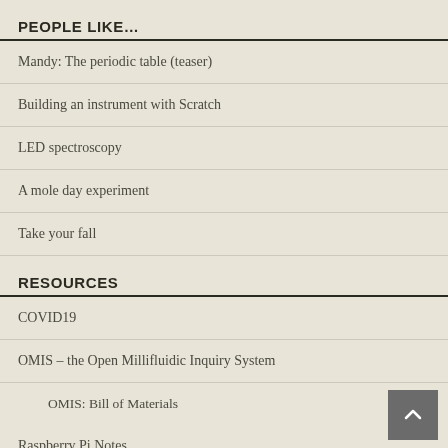PEOPLE LIKE…
Mandy: The periodic table (teaser)
Building an instrument with Scratch
LED spectroscopy
A mole day experiment
Take your fall
RESOURCES
COVID19
OMIS – the Open Millifluidic Inquiry System
OMIS: Bill of Materials
Raspberry Pi Notes
dAd's Notes